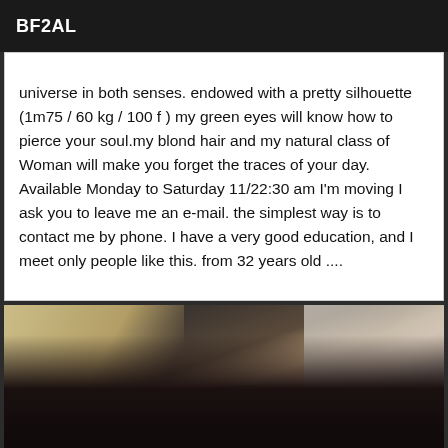BF2AL
universe in both senses. endowed with a pretty silhouette (1m75 / 60 kg / 100 f ) my green eyes will know how to pierce your soul.my blond hair and my natural class of Woman will make you forget the traces of your day. Available Monday to Saturday 11/22:30 am I'm moving I ask you to leave me an e-mail. the simplest way is to contact me by phone. I have a very good education, and I meet only people like this. from 32 years old ....
[Figure (photo): Close-up photo of a blonde woman wearing a black low-cut top, visible cleavage, with tiled floor visible in the background.]